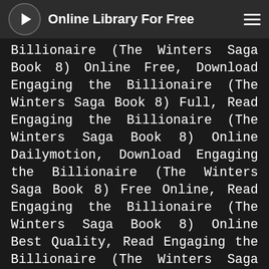Online Library For Free
Billionaire (The Winters Saga Book 8) Online Free, Download Engaging the Billionaire (The Winters Saga Book 8) Full, Read Engaging the Billionaire (The Winters Saga Book 8) Online Dailymotion, Download Engaging the Billionaire (The Winters Saga Book 8) Free Online, Read Engaging the Billionaire (The Winters Saga Book 8) Online Best Quality, Read Engaging the Billionaire (The Winters Saga Book 8) Free Good Quality, Read Engaging the Billionaire (The Winters Saga Book 8) Online Free Yes Books, Read Engaging the Billionaire (The Winters Saga Book 8) Reddit, Read Engaging the Billionaire (The Winters Saga Book 8) Online Free, Download Engaging the Billionaire (The Winters Saga Book 8) Leaked Full Book, Download Engaging the Billionaire (The Winters Saga Book 8) English Version, Read Engaging the Billionaire (The Winters Saga Book